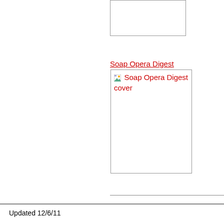[Figure (photo): Placeholder image box at top right, empty white rectangle with border]
Soap Opera Digest
[Figure (photo): Broken image placeholder showing 'Soap Opera Digest cover' alt text in red]
Updated 12/6/11